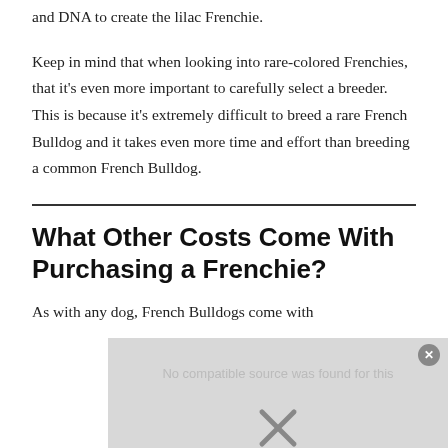and DNA to create the lilac Frenchie.
Keep in mind that when looking into rare-colored Frenchies, that it's even more important to carefully select a breeder. This is because it's extremely difficult to breed a rare French Bulldog and it takes even more time and effort than breeding a common French Bulldog.
What Other Costs Come With Purchasing a Frenchie?
As with any dog, French Bulldogs come with
[Figure (screenshot): Video player overlay showing 'No compatible source was found for this' message with a close button (circle with X) in the top right and an X icon below, overlaid on a gray background.]